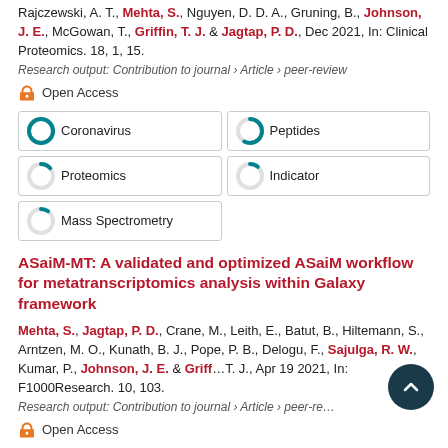Rajczewski, A. T., Mehta, S., Nguyen, D. D. A., Gruning, B., Johnson, J. E., McGowan, T., Griffin, T. J. & Jagtap, P. D., Dec 2021, In: Clinical Proteomics. 18, 1, 15.
Research output: Contribution to journal › Article › peer-review
Open Access
[Figure (other): Badge grid showing topic coverage percentages: Coronavirus 100%, Peptides 57%, Proteomics 13%, Indicator 11%, Mass Spectrometry 10%]
ASaiM-MT: A validated and optimized ASaiM workflow for metatranscriptomics analysis within Galaxy framework
Mehta, S., Jagtap, P. D., Crane, M., Leith, E., Batut, B., Hiltemann, S., Arntzen, M. O., Kunath, B. J., Pope, P. B., Delogu, F., Sajulga, R. W., Kumar, P., Johnson, J. E. & Griffin, T. J., Apr 19 2021, In: F1000Research. 10, 103.
Research output: Contribution to journal › Article › peer-review
Open Access